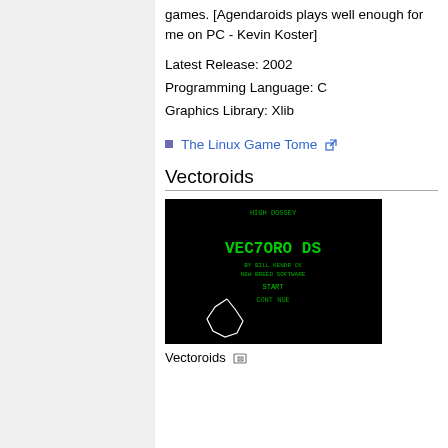games. [Agendaroids plays well enough for me on PC - Kevin Koster]
Latest Release: 2002
Programming Language: C
Graphics Library: Xlib
The Linux Game Tome
Vectoroids
[Figure (screenshot): Vectoroids game screenshot showing black screen with green text VECTOROIDS title, BY BILL KENDRICK, NEW BREED SOFTWARE, START, CONTINUE options and a white outlined asteroid shape]
Vectoroids